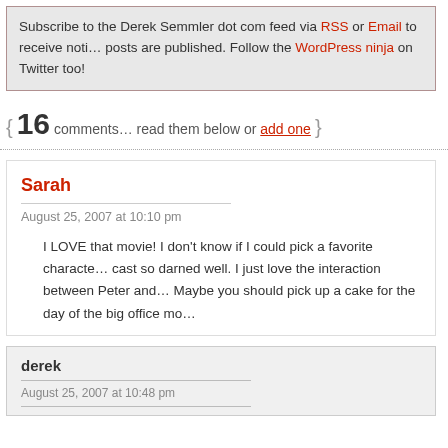Subscribe to the Derek Semmler dot com feed via RSS or Email to receive notifications when new posts are published. Follow the WordPress ninja on Twitter too!
{ 16 comments… read them below or add one }
Sarah
August 25, 2007 at 10:10 pm
I LOVE that movie! I don't know if I could pick a favorite character – it was cast so darned well. I just love the interaction between Peter and… Maybe you should pick up a cake for the day of the big office mo…
derek
August 25, 2007 at 10:48 pm